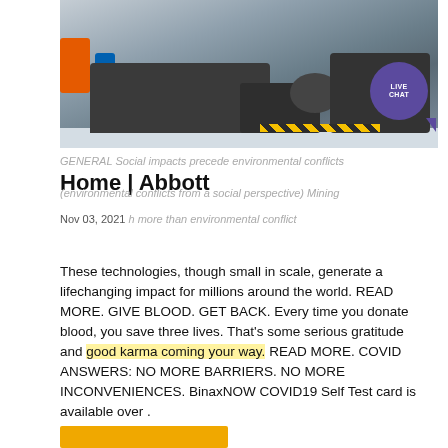[Figure (photo): Industrial machinery in a factory or mining facility. Heavy dark equipment on a light-colored floor. A Live Chat button/bubble is overlaid in the top right corner.]
GENERAL Social impacts precede environmental conflicts
Home | Abbott
(environmental conflicts from a social perspective) Mining
Nov 03, 2021 h more than environmental conflict
These technologies, though small in scale, generate a lifechanging impact for millions around the world. READ MORE. GIVE BLOOD. GET BACK. Every time you donate blood, you save three lives. That's some serious gratitude and good karma coming your way. READ MORE. COVID ANSWERS: NO MORE BARRIERS. NO MORE INCONVENIENCES. BinaxNOW COVID19 Self Test card is available over .
[Figure (other): Orange/yellow rectangular bar at bottom of page]